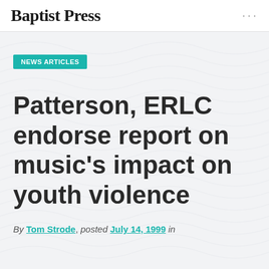Baptist Press
NEWS ARTICLES
Patterson, ERLC endorse report on music's impact on youth violence
By Tom Strode, posted July 14, 1999 in